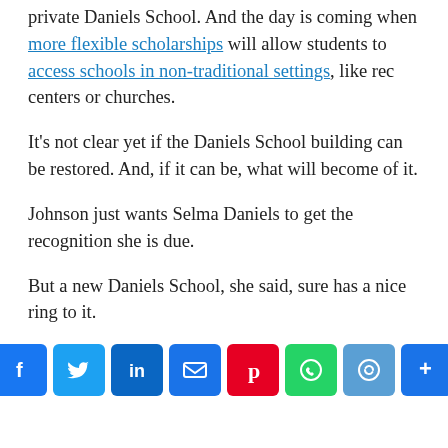private Daniels School. And the day is coming when more flexible scholarships will allow students to access schools in non-traditional settings, like rec centers or churches.
It's not clear yet if the Daniels School building can be restored. And, if it can be, what will become of it.
Johnson just wants Selma Daniels to get the recognition she is due.
But a new Daniels School, she said, sure has a nice ring to it.
[Figure (other): Social sharing buttons: Facebook, Twitter, LinkedIn, Email, Pinterest, WhatsApp, Copy link, More]